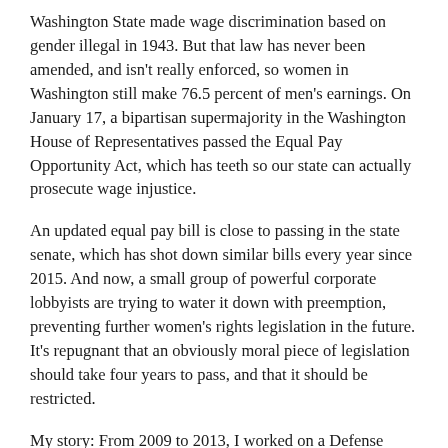Washington State made wage discrimination based on gender illegal in 1943. But that law has never been amended, and isn't really enforced, so women in Washington still make 76.5 percent of men's earnings. On January 17, a bipartisan supermajority in the Washington House of Representatives passed the Equal Pay Opportunity Act, which has teeth so our state can actually prosecute wage injustice.
An updated equal pay bill is close to passing in the state senate, which has shot down similar bills every year since 2015. And now, a small group of powerful corporate lobbyists are trying to water it down with preemption, preventing further women's rights legislation in the future. It's repugnant that an obviously moral piece of legislation should take four years to pass, and that it should be restricted.
My story: From 2009 to 2013, I worked on a Defense Department anti-terrorism media initiative through one of the nation's largest defense contractors.